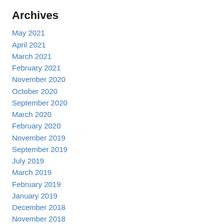Archives
May 2021
April 2021
March 2021
February 2021
November 2020
October 2020
September 2020
March 2020
February 2020
November 2019
September 2019
July 2019
March 2019
February 2019
January 2019
December 2018
November 2018
October 2018
September 2018